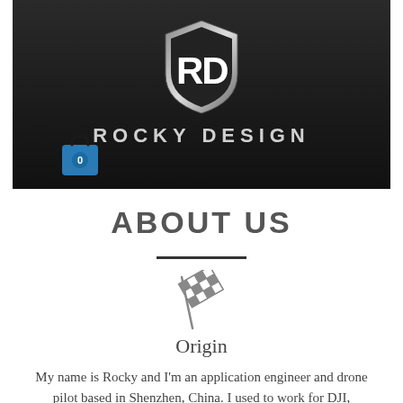[Figure (logo): Rocky Design logo: shield shape with stylized 'RD' letters in white on dark background, with 'ROCKY DESIGN' text below, and a blue shopping bag icon with '0' badge in lower left]
ABOUT US
[Figure (illustration): Checkered racing flag icon in dark gray outline style]
Origin
My name is Rocky and I'm an application engineer and drone pilot based in Shenzhen, China. I used to work for DJI,